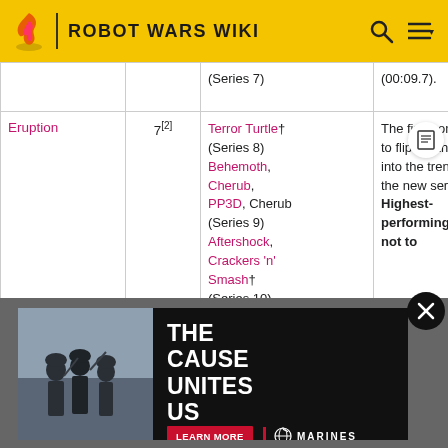ROBOT WARS WIKI
| Robot | Series | Opponents flipped | Notes |
| --- | --- | --- | --- |
| (Series 7) |  |  | (00:09.7). |
| Eruption | 7[2] | Terror Turtle† (Series 8) Behemoth, Cherub, PP3D, Cherub (Series 9) Aftershock, Crackers 'n' Smash† (Series 10) | The first competitor to flip another robot into the trenches in the new series. Highest-performing robot not to have been ...ut of ...a ...not to ... |
[Figure (screenshot): US Marines recruitment advertisement banner with soldiers and text 'THE CAUSE UNITES US' and 'LEARN MORE' button]